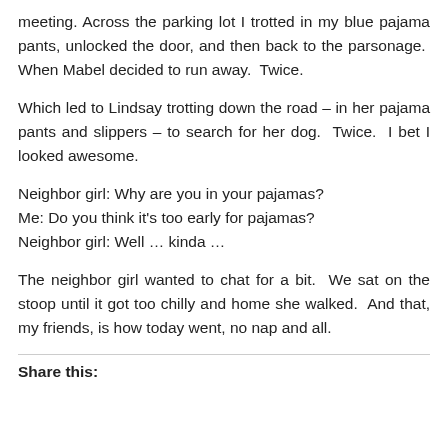meeting. Across the parking lot I trotted in my blue pajama pants, unlocked the door, and then back to the parsonage.  When Mabel decided to run away.  Twice.
Which led to Lindsay trotting down the road – in her pajama pants and slippers – to search for her dog.  Twice.  I bet I looked awesome.
Neighbor girl: Why are you in your pajamas?
Me: Do you think it's too early for pajamas?
Neighbor girl: Well … kinda …
The neighbor girl wanted to chat for a bit.  We sat on the stoop until it got too chilly and home she walked.  And that, my friends, is how today went, no nap and all.
Share this: